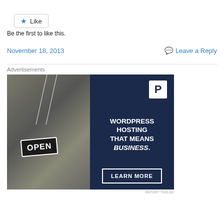[Figure (other): Like button widget with star icon]
Be the first to like this.
November 18, 2013
Leave a Reply
Advertisements
[Figure (advertisement): WordPress Hosting advertisement showing a woman holding an OPEN sign with text: WORDPRESS HOSTING THAT MEANS BUSINESS. and a LEARN MORE button]